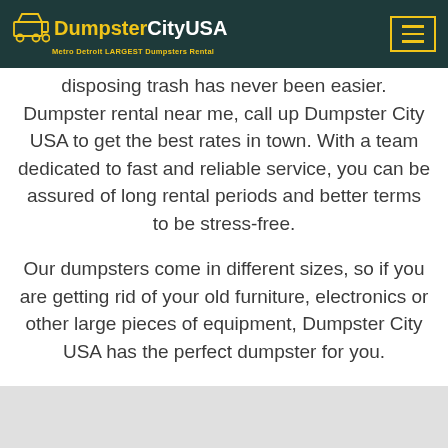DumpsterCityUSA - Metro Detroit LARGEST Dumpsters Rental
disposing trash has never been easier. Dumpster rental near me, call up Dumpster City USA to get the best rates in town. With a team dedicated to fast and reliable service, you can be assured of long rental periods and better terms to be stress-free.
Our dumpsters come in different sizes, so if you are getting rid of your old furniture, electronics or other large pieces of equipment, Dumpster City USA has the perfect dumpster for you.